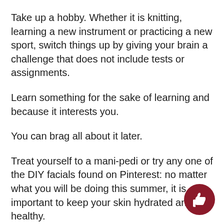Take up a hobby. Whether it is knitting, learning a new instrument or practicing a new sport, switch things up by giving your brain a challenge that does not include tests or assignments.
Learn something for the sake of learning and because it interests you.
You can brag all about it later.
Treat yourself to a mani-pedi or try any one of the DIY facials found on Pinterest: no matter what you will be doing this summer, it is important to keep your skin hydrated and healthy.
Plenty of movies will be coming soon to theaters. Find some romance in June with Me